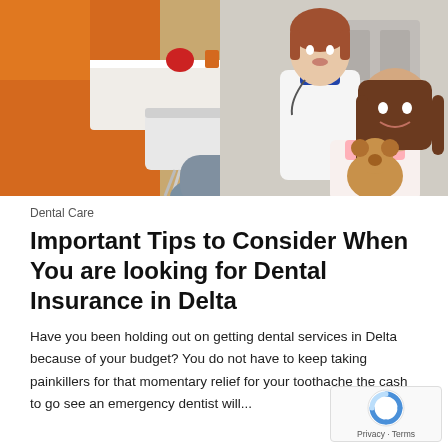[Figure (photo): A young girl sitting in a dental chair holding a stuffed bear, smiling at the camera. A female dental professional in a white coat stands behind her. The dental office has orange walls and dental equipment visible.]
Dental Care
Important Tips to Consider When You are looking for Dental Insurance in Delta
Have you been holding out on getting dental services in Delta because of your budget? You do not have to keep taking painkillers for that momentary relief for your toothache the cash to go see an emergency dentist will...